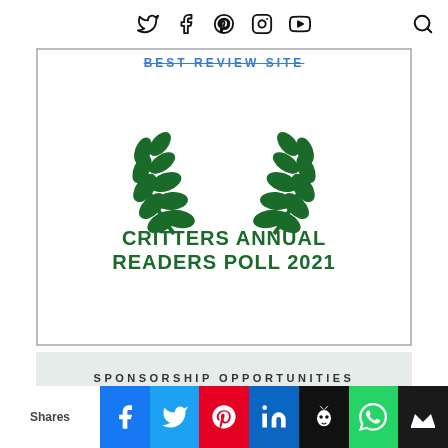Social media icons and search icon navigation bar
[Figure (logo): Critters Annual Readers Poll 2021 badge with green laurel wreath design and blue 'Best Review Site' text at top, green bold text reading 'CRITTERS ANNUAL READERS POLL 2021' at bottom, inside a bordered rectangle]
SPONSORSHIP OPPORTUNITIES
[Figure (other): Partially visible card with teal/green border, bottom cut off]
Shares | Facebook | Twitter | Pinterest | LinkedIn | Hootsuite | WhatsApp | Crown